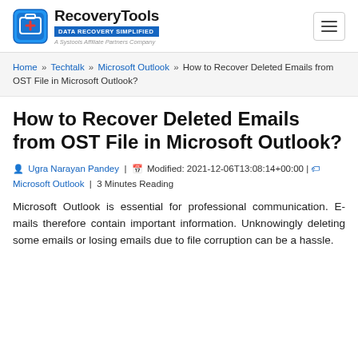RecoveryTools | DATA RECOVERY SIMPLIFIED | A Systools Affiliate Partners Company
Home » Techtalk » Microsoft Outlook » How to Recover Deleted Emails from OST File in Microsoft Outlook?
How to Recover Deleted Emails from OST File in Microsoft Outlook?
Ugra Narayan Pandey | Modified: 2021-12-06T13:08:14+00:00 | Microsoft Outlook | 3 Minutes Reading
Microsoft Outlook is essential for professional communication. E-mails therefore contain important information. Unknowingly deleting some emails or losing emails due to file corruption can be a hassle.